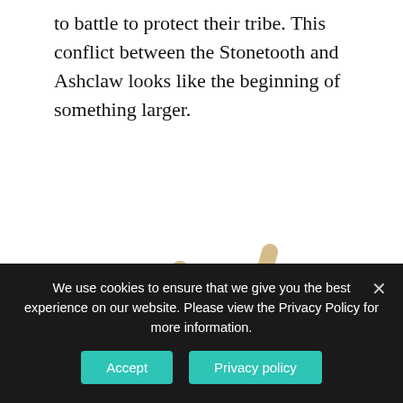to battle to protect their tribe. This conflict between the Stonetooth and Ashclaw looks like the beginning of something larger.
[Figure (photo): LEGO minifigure of a tribal warrior with black hair riding a green dinosaur/raptor, with large tusks/horns behind them, on a white background.]
We use cookies to ensure that we give you the best experience on our website. Please view the Privacy Policy for more information.
Accept
Privacy policy